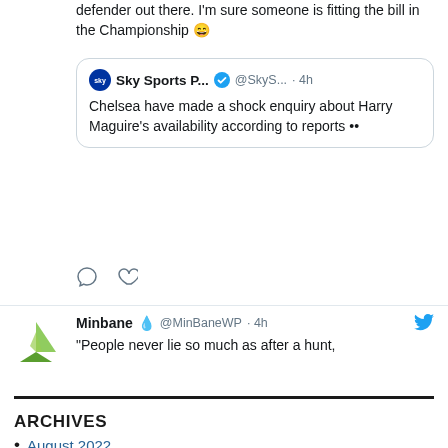defender out there. I'm sure someone is fitting the bill in the Championship 😄
Sky Sports P... ✓ @SkyS... · 4h
Chelsea have made a shock enquiry about Harry Maguire's availability according to reports ••
[Figure (screenshot): Tweet reply icons (comment and heart icons)]
Minbane 💧 @MinBaneWP · 4h
"People never lie so much as after a hunt,
ARCHIVES
August 2022